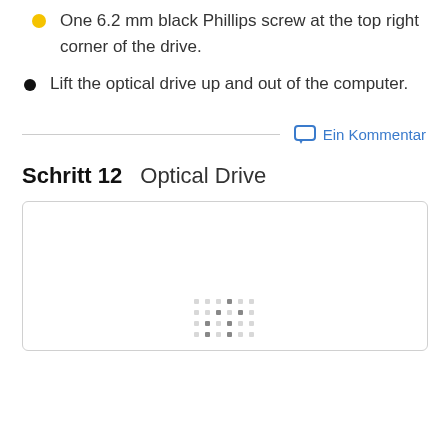One 6.2 mm black Phillips screw at the top right corner of the drive.
Lift the optical drive up and out of the computer.
Ein Kommentar
Schritt 12   Optical Drive
[Figure (photo): Image placeholder with dot/pixel pattern at the bottom center, representing a photo of optical drive removal step.]